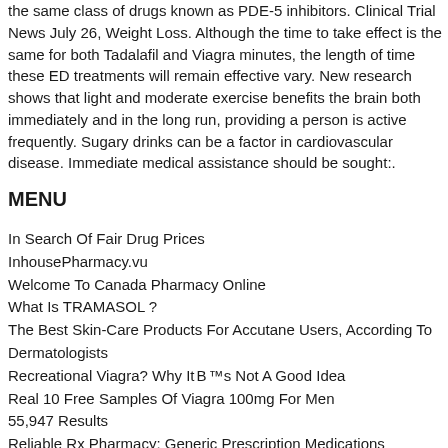the same class of drugs known as PDE-5 inhibitors. Clinical Trial News July 26, Weight Loss. Although the time to take effect is the same for both Tadalafil and Viagra minutes, the length of time these ED treatments will remain effective vary. New research shows that light and moderate exercise benefits the brain both immediately and in the long run, providing a person is active frequently. Sugary drinks can be a factor in cardiovascular disease. Immediate medical assistance should be sought:.
MENU
In Search Of Fair Drug Prices
InhousePharmacy.vu
Welcome To Canada Pharmacy Online
What Is TRAMASOL ?
The Best Skin-Care Products For Accutane Users, According To Dermatologists
Recreational Viagra? Why It​B​T​h​™s Not A Good Idea
Real 10 Free Samples Of Viagra 100mg For Men
55,947 Results
Reliable Rx Pharmacy: Generic Prescription Medications
Stree Overlord